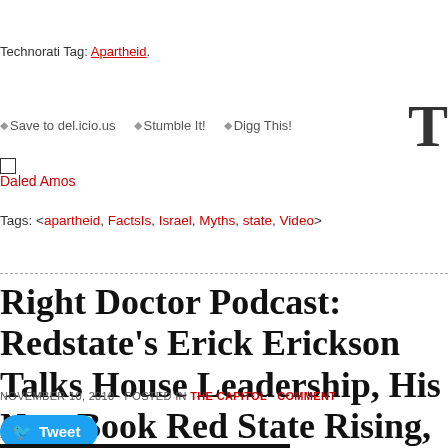Technorati Tag: Apartheid.
♦ Save to del.icio.us ♦ Stumble It! ♦ Digg This!
Daled Amos
Tags: <apartheid, FactsIs, Israel, Myths, state, Video>
Right Doctor Podcast: Redstate's Erick Erickson Talks House Leadership, His New Book Red State Rising, And Presidential Contenders
NOVEMBER 10, 2010 · POSTED IN THE CAPITOL · COMMENT